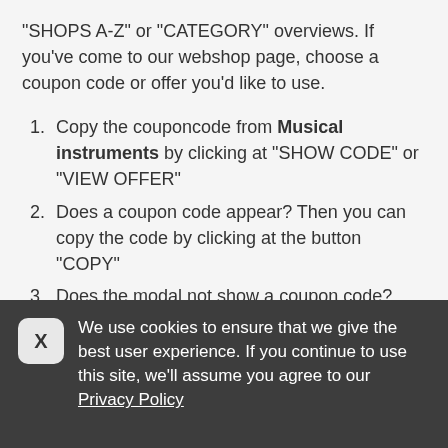"SHOPS A-Z" or "CATEGORY" overviews. If you've come to our webshop page, choose a coupon code or offer you'd like to use.
Copy the couponcode from Musical instruments by clicking at "SHOW CODE" or "VIEW OFFER"
Does a coupon code appear? Then you can copy the code by clicking at the button "COPY"
Does the modal not show a coupon code? Then you can click directly in the big blue button "VISIT Musical instruments
On the Musical instruments website select one or
We use cookies to ensure that we give the best user experience. If you continue to use this site, we'll assume you agree to our Privacy Policy